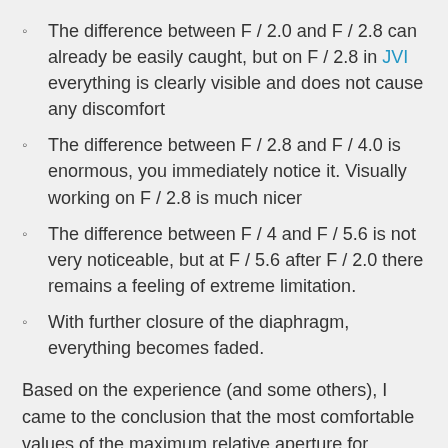The difference between F / 2.0 and F / 2.8 can already be easily caught, but on F / 2.8 in JVI everything is clearly visible and does not cause any discomfort
The difference between F / 2.8 and F / 4.0 is enormous, you immediately notice it. Visually working on F / 2.8 is much nicer
The difference between F / 4 and F / 5.6 is not very noticeable, but at F / 5.6 after F / 2.0 there remains a feeling of extreme limitation.
With further closure of the diaphragm, everything becomes faded.
Based on the experience (and some others), I came to the conclusion that the most comfortable values of the maximum relative aperture for sighting are F / 2.8 and lower.